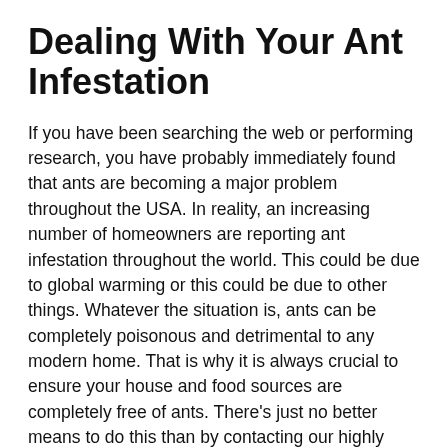Dealing With Your Ant Infestation
If you have been searching the web or performing research, you have probably immediately found that ants are becoming a major problem throughout the USA. In reality, an increasing number of homeowners are reporting ant infestation throughout the world. This could be due to global warming or this could be due to other things. Whatever the situation is, ants can be completely poisonous and detrimental to any modern home. That is why it is always crucial to ensure your house and food sources are completely free of ants. There's just no better means to do this than by contacting our highly trained employees.
Out employees have the skills, abilities, and knowledge to completely eliminate the house of these insects.